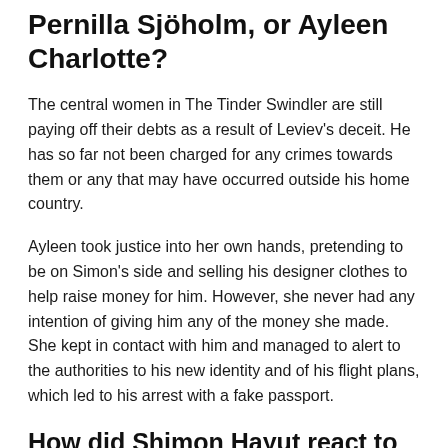Pernilla Sjöholm, or Ayleen Charlotte?
The central women in The Tinder Swindler are still paying off their debts as a result of Leviev's deceit. He has so far not been charged for any crimes towards them or any that may have occurred outside his home country.
Ayleen took justice into her own hands, pretending to be on Simon's side and selling his designer clothes to help raise money for him. However, she never had any intention of giving him any of the money she made. She kept in contact with him and managed to alert to the authorities to his new identity and of his flight plans, which led to his arrest with a fake passport.
How did Shimon Hayut react to the series The Tinder Swindler?
Shimon Hayut has shared his thoughts on the Netflix